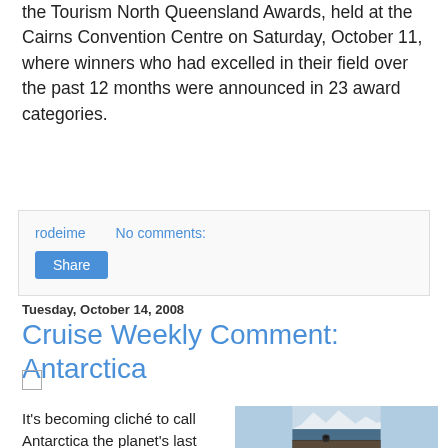the Tourism North Queensland Awards, held at the Cairns Convention Centre on Saturday, October 11, where winners who had excelled in their field over the past 12 months were announced in 23 award categories.
rodeime   No comments:
Share
Tuesday, October 14, 2008
Cruise Weekly Comment: Antarctica
Cruise Weekly – Comment by Roderick Eime
It's becoming cliché to call Antarctica the planet's last wilderness adventure, but it's almost certainly still true.
[Figure (photo): A person on a ship deck looking through binoculars at an Antarctic iceberg landscape across dark blue water.]